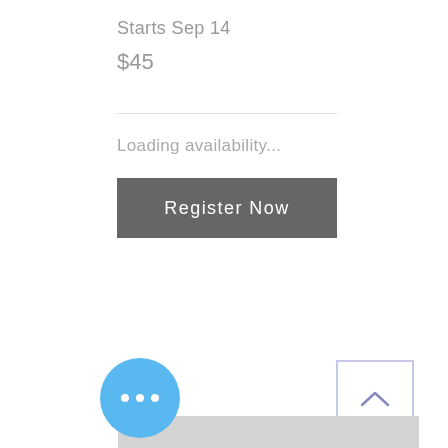Starts Sep 14
$45
Loading availability...
Register Now
[Figure (screenshot): Scroll-to-top chevron button with a light purple border]
[Figure (screenshot): Gray placeholder map area]
[Figure (screenshot): Blue circular FAB button with three white dots]